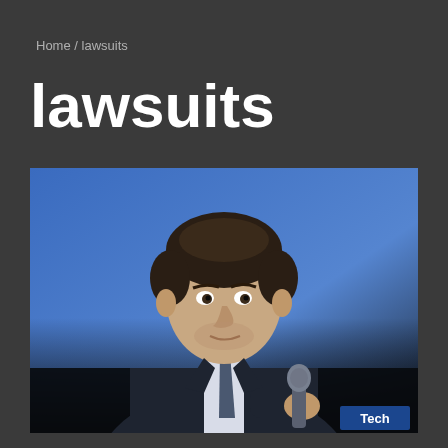Home / lawsuits
lawsuits
[Figure (photo): A man in a dark suit holding a microphone, seated against a blue background, photographed at an event. A 'Tech' badge appears in the bottom-right corner of the image.]